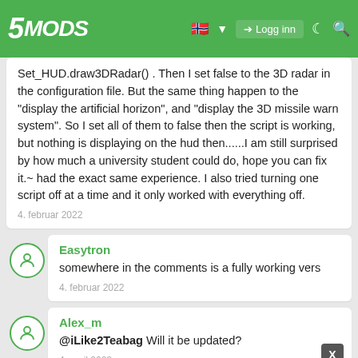5MODS | Logg inn
Set_HUD.draw3DRadar() . Then I set false to the 3D radar in the configuration file. But the same thing happen to the "display the artificial horizon", and "display the 3D missile warn system". So I set all of them to false then the script is working, but nothing is displaying on the hud then......I am still surprised by how much a university student could do, hope you can fix it.~ had the exact same experience. I also tried turning one script off at a time and it only worked with everything off.
4. februar 2022
Easytron
somewhere in the comments is a fully working vers
4. februar 2022
Alex_m
@iLike2Teabag Will it be updated?
4. april 2022
Alex_m